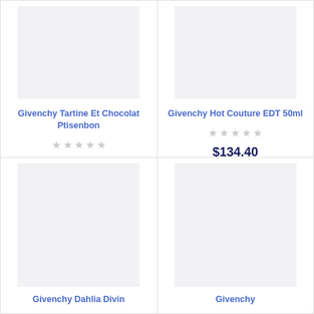[Figure (photo): Product image placeholder for Givenchy Tartine Et Chocolat Ptisenbon]
Givenchy Tartine Et Chocolat Ptisenbon
★★★★★ (empty stars rating)
$97.99
6 offers
[Figure (photo): Product image placeholder for Givenchy Hot Couture EDT 50ml]
Givenchy Hot Couture EDT 50ml
★★★★★ (empty stars rating)
$134.40
5 offers
[Figure (photo): Product image placeholder for Givenchy Dahlia Divin]
Givenchy Dahlia Divin
[Figure (photo): Product image placeholder for Givenchy (truncated)]
Givenchy